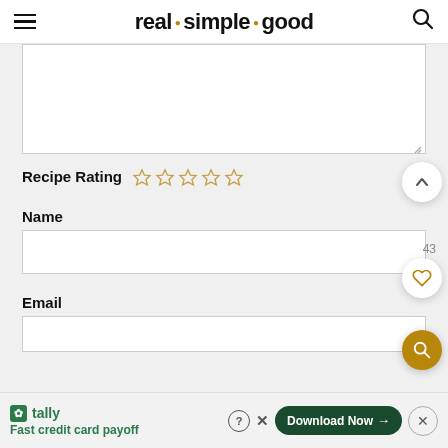real · simple · good
[Figure (screenshot): Empty textarea / comment input box with resize handle]
Recipe Rating ☆☆☆☆☆
Name
[Figure (screenshot): Empty name input field]
Email
[Figure (screenshot): Empty email input field (partial)]
tally  Fast credit card payoff  Download Now →